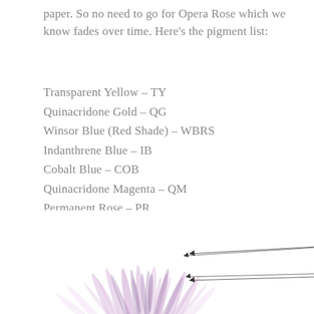paper. So no need to go for Opera Rose which we know fades over time. Here's the pigment list:
Transparent Yellow – TY
Quinacridone Gold – QG
Winsor Blue (Red Shade) – WBRS
Indanthrene Blue – IB
Cobalt Blue – COB
Quinacridone Magenta – QM
Permanent Rose – PR
Burnt Sienna – BS
Perylene Violet  – PV
Winsor Violet – WV
[Figure (illustration): Watercolor painting of purple/lavender flower petals (likely a sea anemone or chrysanthemum-style flower) with annotations pointing to color mixtures: 'QM + WV' and 'PV + IB']